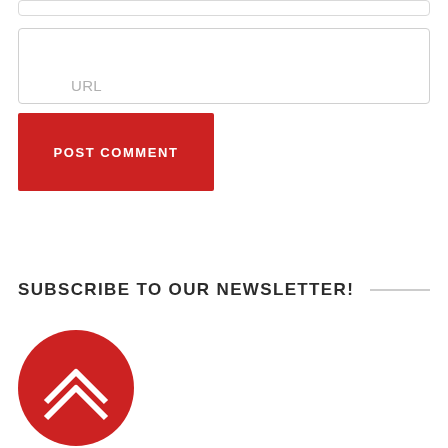URL
POST COMMENT
SUBSCRIBE TO OUR NEWSLETTER!
[Figure (logo): Red circle with white chevron/arrow logo]